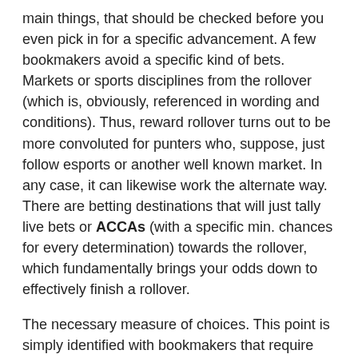main things, that should be checked before you even pick in for a specific advancement. A few bookmakers avoid a specific kind of bets. Markets or sports disciplines from the rollover (which is, obviously, referenced in wording and conditions). Thus, reward rollover turns out to be more convoluted for punters who, suppose, just follow esports or another well known market. In any case, it can likewise work the alternate way. There are betting destinations that will just tally live bets or ACCAs (with a specific min. chances for every determination) towards the rollover, which fundamentally brings your odds down to effectively finish a rollover.
The necessary measure of choices. This point is simply identified with bookmakers that require ACCAs to finish the rollover. The solitary distinction here is that a few administrations. Will request that you have 2 determinations on the slip when others would go for 3 or even 4 of those.
Soccer Predictions Today
Min. chances. Notwithstanding the sort of bet (single or acca). Bookmakers for the most part list something like min. chances